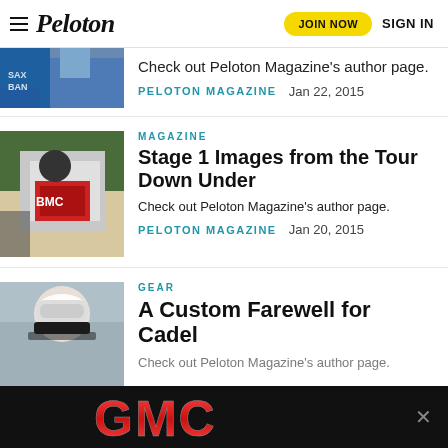Peloton — JOIN NOW | SIGN IN
[Figure (photo): Partial cycling team photo at top, cropped]
Check out Peloton Magazine's author page.
PELOTON MAGAZINE    Jan 22, 2015
[Figure (photo): BMC cyclist holding white bicycle outdoors]
MAGAZINE
Stage 1 Images from the Tour Down Under
Check out Peloton Magazine's author page.
PELOTON MAGAZINE    Jan 20, 2015
[Figure (photo): Cyclist wearing white helmet and sunglasses]
GEAR
A Custom Farewell for Cadel
Check out Peloton Magazine's author page.
[Figure (photo): GMC advertisement banner on black background]